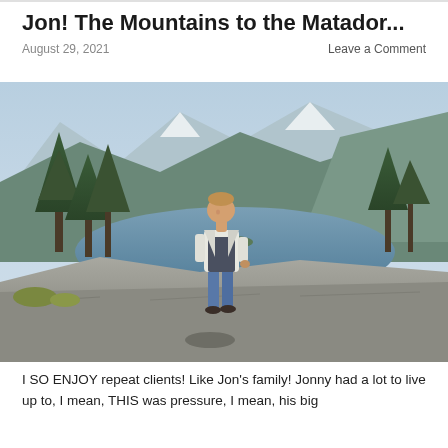Jon! The Mountains to the Matador...
August 29, 2021
Leave a Comment
[Figure (photo): Young man in a white jacket and jeans standing on a rocky overlook with an alpine lake, pine trees, and snow-capped mountains in the background.]
I SO ENJOY repeat clients! Like Jon's family! Jonny had a lot to live up to, I mean, THIS was pressure, I mean, his big